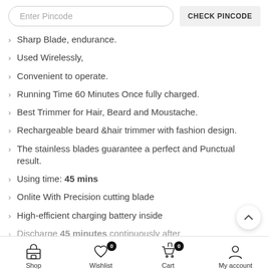Enter Pincode | CHECK PINCODE
Sharp Blade, endurance.
Used Wirelessly,
Convenient to operate.
Running Time 60 Minutes Once fully charged.
Best Trimmer for Hair, Beard and Moustache.
Rechargeable beard &hair trimmer with fashion design.
The stainless blades guarantee a perfect and Punctual result.
Using time: 45 mins
Onlite With Precision cutting blade
High-efficient charging battery inside
Discharge 45 minutes continuously after
Shop  Wishlist 0  Cart 0  My account